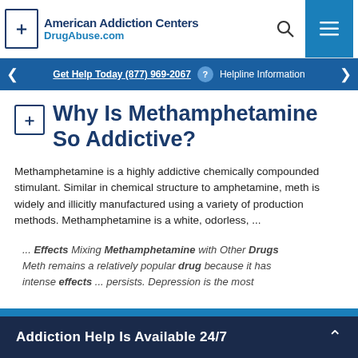American Addiction Centers DrugAbuse.com
Get Help Today (877) 969-2067  Helpline Information
Why Is Methamphetamine So Addictive?
Methamphetamine is a highly addictive chemically compounded stimulant. Similar in chemical structure to amphetamine, meth is widely and illicitly manufactured using a variety of production methods. Methamphetamine is a white, odorless, ...
... Effects Mixing Methamphetamine with Other Drugs Meth remains a relatively popular drug because it has intense effects ... persists. Depression is the most
Addiction Help Is Available 24/7